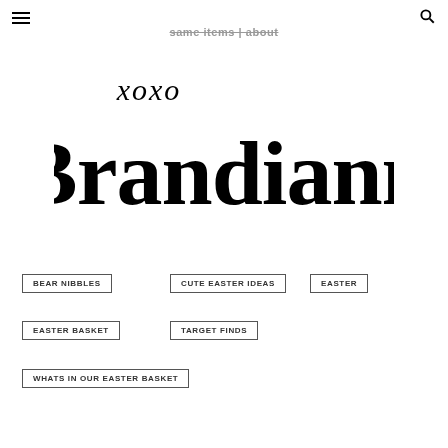same items | about
[Figure (logo): xoxo Brandiann script logo in black brush lettering]
BEAR NIBBLES
CUTE EASTER IDEAS
EASTER
EASTER BASKET
TARGET FINDS
WHATS IN OUR EASTER BASKET